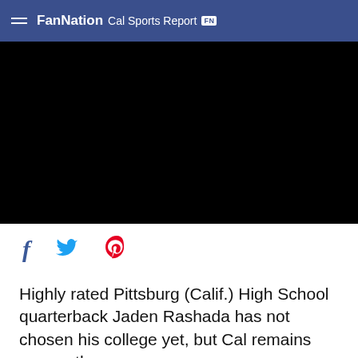FanNation Cal Sports Report
[Figure (photo): Black video player area]
f  ♥  ℗
Highly rated Pittsburg (Calif.) High School quarterback Jaden Rashada has not chosen his college yet, but Cal remains among the